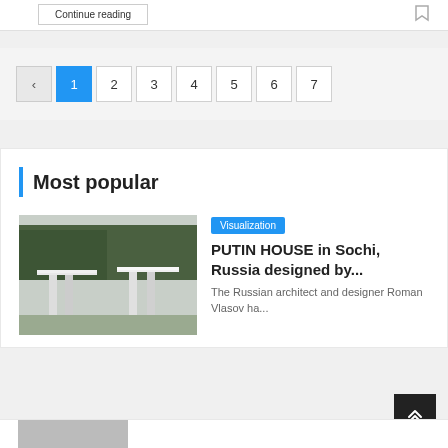[Figure (screenshot): Top strip with 'Continue reading' button and bookmark icon]
‹ 1 2 3 4 5 6 7 — pagination controls
Most popular
[Figure (photo): Photo of modern white architectural structure (Putin House in Sochi) set against a forested hillside]
Visualization
PUTIN HOUSE in Sochi, Russia designed by...
The Russian architect and designer Roman Vlasov ha...